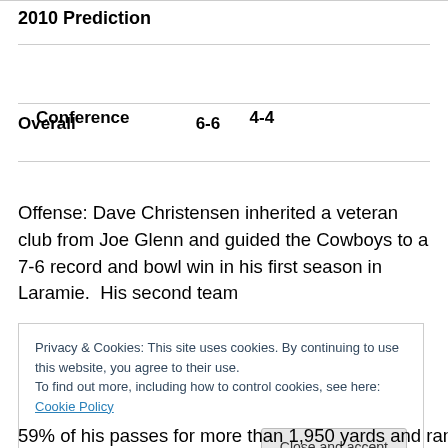2010 Prediction
| Conference | 4-4 |
| Overall | 6-6 |
Offense: Dave Christensen inherited a veteran club from Joe Glenn and guided the Cowboys to a 7-6 record and bowl win in his first season in Laramie.  His second team
Privacy & Cookies: This site uses cookies. By continuing to use this website, you agree to their use.
To find out more, including how to control cookies, see here: Cookie Policy

Close and accept
59% of his passes for more than 1,950 yards and ran for